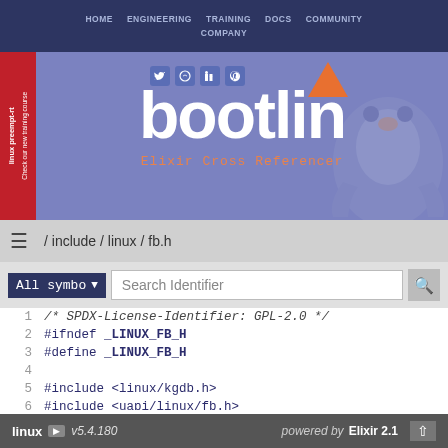HOME  ENGINEERING  TRAINING  DOCS  COMMUNITY  COMPANY
[Figure (logo): Bootlin website header with logo text 'bootlin', Elixir Cross Referencer subtitle, social media icons, penguin mascot silhouette, and linux preempt-rt sidebar banner]
/ include / linux / fb.h
All symbo ▾  Search Identifier
1   /* SPDX-License-Identifier: GPL-2.0 */
2   #ifndef _LINUX_FB_H
3   #define _LINUX_FB_H
4
5   #include <linux/kgdb.h>
6   #include <uapi/linux/fb.h>
7
8   #define FBIO_CURSOR...
linux  v5.4.180  powered by  Elixir 2.1